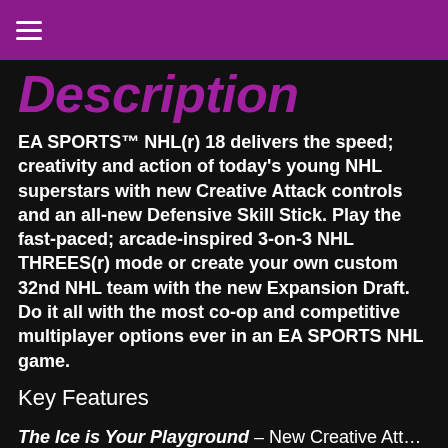≡
Description
EA SPORTS™ NHL(r) 18 delivers the speed; creativity and action of today's young NHL superstars with new Creative Attack controls and an all-new Defensive Skill Stick. Play the fast-paced; arcade-inspired 3-on-3 NHL THREES(r) mode or create your own custom 32nd NHL team with the new Expansion Draft. Do it all with the most co-op and competitive multiplayer options ever in an EA SPORTS NHL game.
Key Features
The Ice is Your Playground – New Creative Attack moves give you full control to execute the highlight...